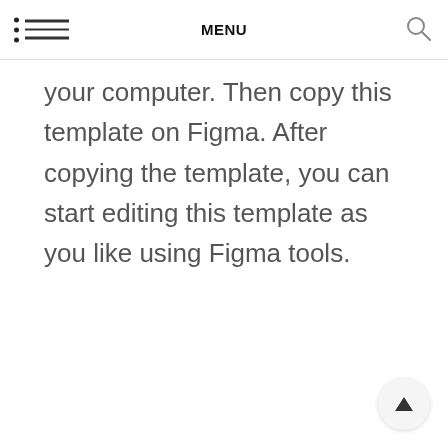MENU
your computer. Then copy this template on Figma. After copying the template, you can start editing this template as you like using Figma tools.